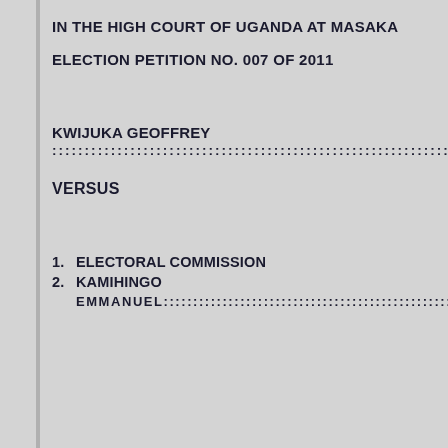IN THE HIGH COURT OF UGANDA AT MASAKA
ELECTION PETITION NO. 007 OF 2011
KWIJUKA GEOFFREY ::::::::::::::::::::::::::::::::::::::::::::::::::::::::PETITIONER
VERSUS
1. ELECTORAL COMMISSION
2. KAMIHINGO EMMANUEL::::::::::::::::::::::::::::::::::::::::RESP